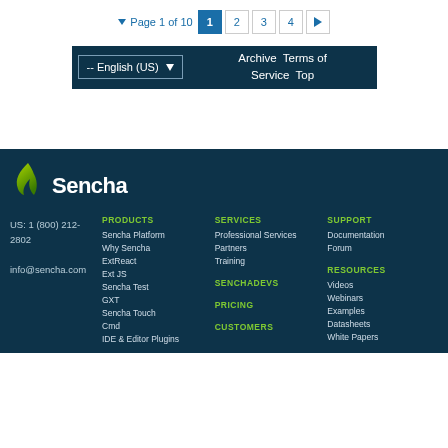Page 1 of 10  1  2  3  4  ▶
-- English (US)  Archive  Terms of Service  Top
[Figure (logo): Sencha logo with green flame icon and white Sencha wordmark on dark blue background]
US: 1 (800) 212-2802
info@sencha.com
PRODUCTS
Sencha Platform
Why Sencha
ExtReact
Ext JS
Sencha Test
GXT
Sencha Touch
Cmd
IDE & Editor Plugins
SERVICES
Professional Services
Partners
Training
SENCHADEVS
PRICING
CUSTOMERS
SUPPORT
Documentation
Forum
RESOURCES
Videos
Webinars
Examples
Datasheets
White Papers